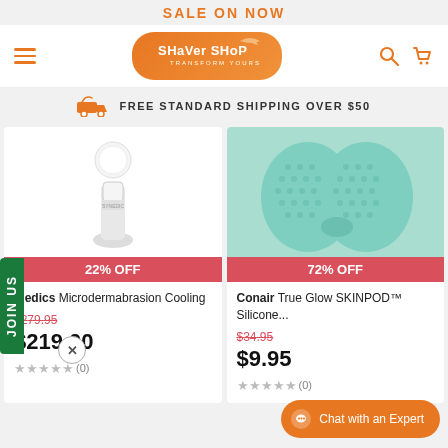SALE ON NOW
[Figure (logo): Shaver Shop logo with hamburger menu, search and cart icons]
FREE STANDARD SHIPPING OVER $50
[Figure (photo): White microdermabrasion device on white background - left product card with 22% OFF badge]
[Figure (photo): Teal/mint silicone face cleansing pad - right product card with 72% OFF badge]
medics Microdermabrasion Cooling
$279.95
$219.00
★★★★★ (0)
Conair True Glow SKINPOD™ Silicone...
$34.95
$9.95
★★★★★ (0)
JOIN US
Chat with an Expert